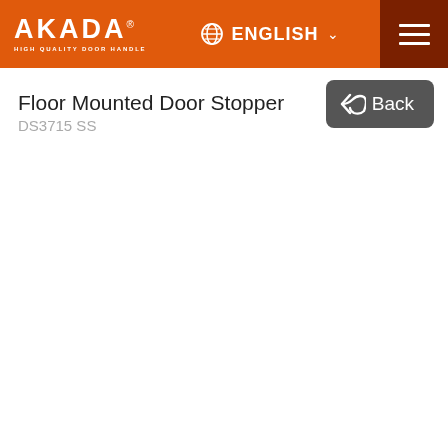AKADA® HIGH QUALITY DOOR HANDLE — ENGLISH
Floor Mounted Door Stopper
DS3715 SS